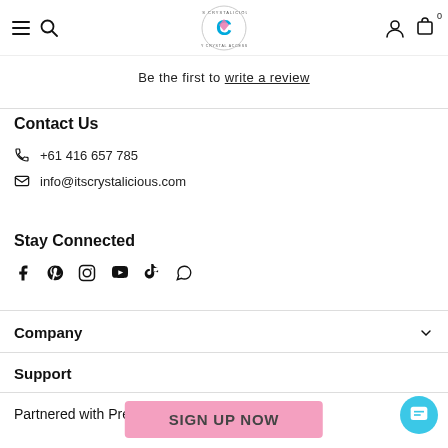It's Crystalicious - Luxury Crystal Accessories
Be the first to write a review
Contact Us
+61 416 657 785
info@itscrystalicious.com
Stay Connected
[Figure (other): Social media icons: Facebook, Pinterest, Instagram, YouTube, TikTok, WhatsApp]
Company
Support
Partnered with Preciosa Crystal
SIGN UP NOW